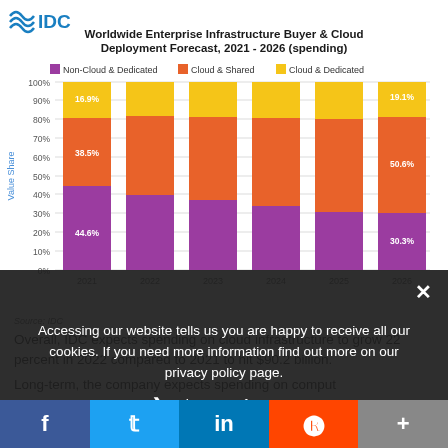[Figure (stacked-bar-chart): Worldwide Enterprise Infrastructure Buyer & Cloud Deployment Forecast, 2021 - 2026 (spending)]
Accessing our website tells us you are happy to receive all our cookies. If you need more information find out more on our privacy policy page.
Privacy Preferences
Source: IDC
Overall, IDC expects spending on cloud infrastructure to grow 22 percent in 2022 compared to 2021 to hit $90.2 billion.
Long-term, the company expects spending on comput